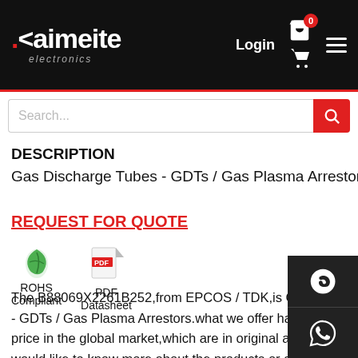[Figure (screenshot): Kaimeite electronics website header with logo, Login link, cart icon with badge showing 0, and hamburger menu on black background]
[Figure (screenshot): Search bar with placeholder text Search... and red search button]
DESCRIPTION
Gas Discharge Tubes - GDTs / Gas Plasma Arrestors T31-A90X
REQUEST FOR QUOTE
[Figure (illustration): ROHS Compliant green leaf icon]
[Figure (illustration): PDF Datasheet icon]
The B88069X2261B252,from EPCOS / TDK,is Gas Discharge - GDTs / Gas Plasma Arrestors.what we offer have competiti price in the global market,which are in original and new parts would like to know more about the products or apply a lower